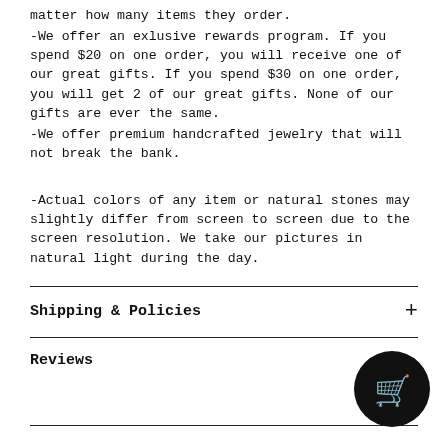matter how many items they order.
-We offer an exlusive rewards program. If you spend $20 on one order, you will receive one of our great gifts. If you spend $30 on one order, you will get 2 of our great gifts. None of our gifts are ever the same.
-We offer premium handcrafted jewelry that will not break the bank.
-Actual colors of any item or natural stones may slightly differ from screen to screen due to the screen resolution. We take our pictures in natural light during the day.
Shipping & Policies
Reviews